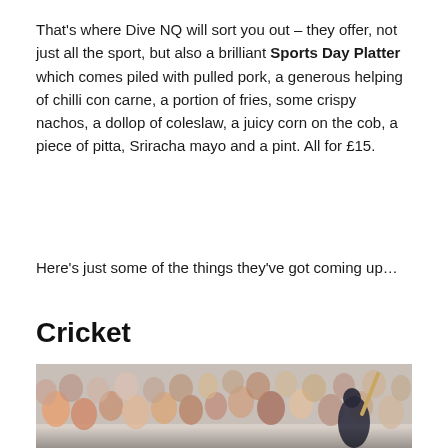That's where Dive NQ will sort you out – they offer, not just all the sport, but also a brilliant Sports Day Platter which comes piled with pulled pork, a generous helping of chilli con carne, a portion of fries, some crispy nachos, a dollop of coleslaw, a juicy corn on the cob, a piece of pitta, Sriracha mayo and a pint. All for £15.
Here's just some of the things they've got coming up…
Cricket
[Figure (photo): A cricket player raising a bat above their head, surrounded by a crowd of spectators in stadium seating, photographed outdoors in bright daylight.]